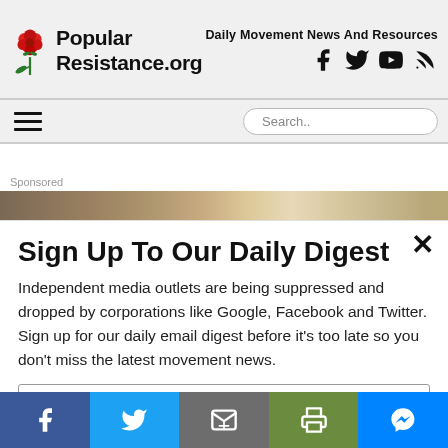[Figure (logo): Popular Resistance.org logo with red rose graphic and text]
Daily Movement News And Resources
[Figure (infographic): Social media icons: Facebook, Twitter, YouTube, RSS feed]
[Figure (infographic): Hamburger menu icon and Search bar]
Sponsored
[Figure (photo): Sponsored advertisement image strip]
Sign Up To Our Daily Digest
Independent media outlets are being suppressed and dropped by corporations like Google, Facebook and Twitter. Sign up for our daily email digest before it’s too late so you don’t miss the latest movement news.
Email
[Figure (infographic): Bottom social sharing bar with Facebook, Twitter, Email, Print, and Messenger buttons]